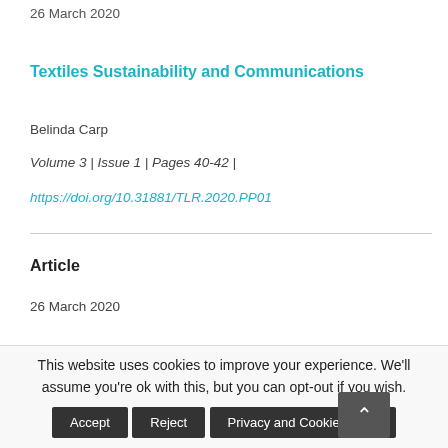26 March 2020
Textiles Sustainability and Communications
Belinda Carp
Volume 3 | Issue 1 | Pages 40-42 |
https://doi.org/10.31881/TLR.2020.PP01
Article
26 March 2020
This website uses cookies to improve your experience. We'll assume you're ok with this, but you can opt-out if you wish.
Accept | Reject | Privacy and Cookie Policy